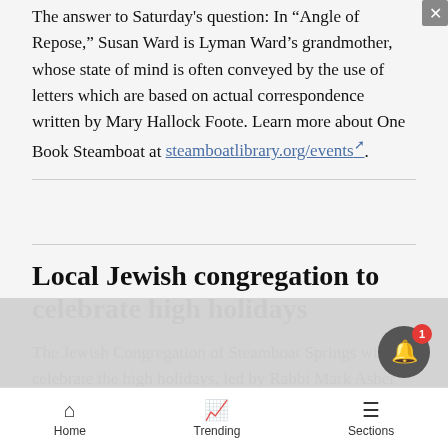The answer to Saturday's question: In 'Angle of Repose,' Susan Ward is Lyman Ward's grandmother, whose state of mind is often conveyed by the use of letters which are based on actual correspondence written by Mary Hallock Foote. Learn more about One Book Steamboat at steamboatlibrary.org/events.
Local Jewish congregation to celebrate high holidays
The Jewish Congregation of Steamboat Springs will celebrate the high holidays, led by Rabbi Mark Asher Goodman, at The Ranch, 1800 Ranch Road. The Days of Awe... God's... asize